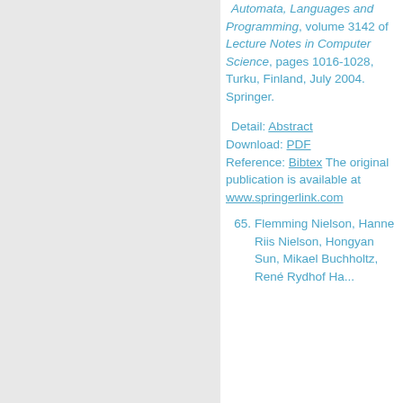Automata, Languages and Programming, volume 3142 of Lecture Notes in Computer Science, pages 1016-1028, Turku, Finland, July 2004. Springer.
Detail: Abstract Download: PDF Reference: Bibtex The original publication is available at www.springerlink.com
65. Flemming Nielson, Hanne Riis Nielson, Hongyan Sun, Mikael Buchholtz, René Rydhof Hansen,